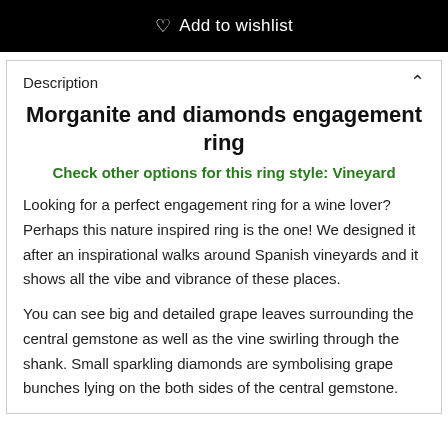Add to wishlist
Description
Morganite and diamonds engagement ring
Check other options for this ring style: Vineyard
Looking for a perfect engagement ring for a wine lover? Perhaps this nature inspired ring is the one! We designed it after an inspirational walks around Spanish vineyards and it shows all the vibe and vibrance of these places.
You can see big and detailed grape leaves surrounding the central gemstone as well as the vine swirling through the shank. Small sparkling diamonds are symbolising grape bunches lying on the both sides of the central gemstone.